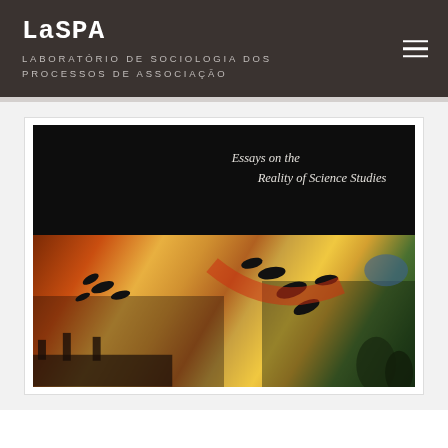LaSPA
LABORATÓRIO DE SOCIOLOGIA DOS PROCESSOS DE ASSOCIAÇÃO
[Figure (photo): Book cover showing 'Essays on the Reality of Science Studies'. The cover has a black upper half with italic white text, and a lower half showing a colorful photomontage with birds in flight silhouetted against an urban and abstract background.]